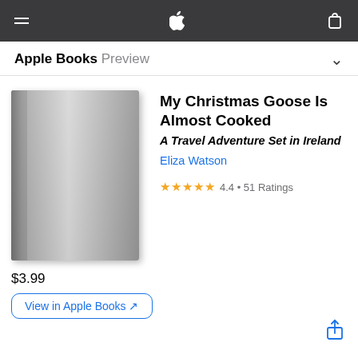Apple Books Preview
[Figure (illustration): Gray book cover with no text, showing spine on left side with gradient shading]
My Christmas Goose Is Almost Cooked
A Travel Adventure Set in Ireland
Eliza Watson
4.4 • 51 Ratings
$3.99
View in Apple Books ↗